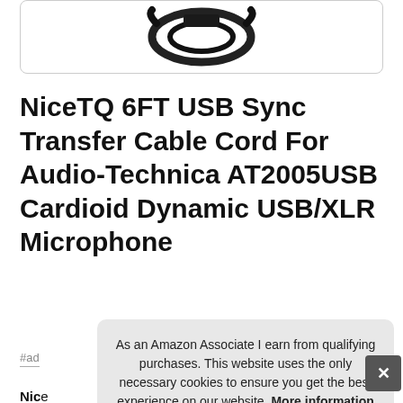[Figure (photo): Partial product image of a USB cable on white background, showing the cable coiled/connector portion at the top of the page, inside a rounded border box.]
NiceTQ 6FT USB Sync Transfer Cable Cord For Audio-Technica AT2005USB Cardioid Dynamic USB/XLR Microphone
#ad
NiceTQ ... at2005usb ... usb ... cha ... adapters.
As an Amazon Associate I earn from qualifying purchases. This website uses the only necessary cookies to ensure you get the best experience on our website. More information